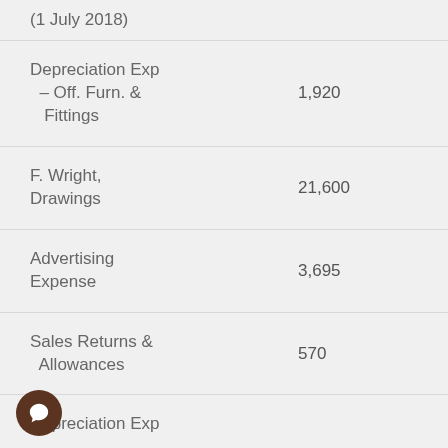(1 July 2018)
| Account | Amount |
| --- | --- |
| Depreciation Exp – Off. Furn. & Fittings | 1,920 |
| F. Wright, Drawings | 21,600 |
| Advertising Expense | 3,695 |
| Sales Returns & Allowances | 570 |
| Depreciation Exp |  |